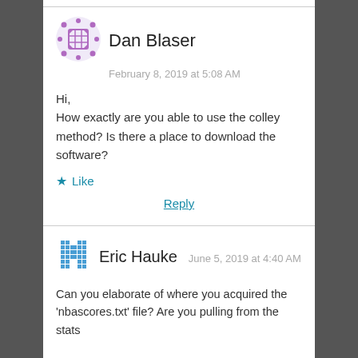[Figure (illustration): Purple geometric avatar for Dan Blaser]
Dan Blaser
February 8, 2019 at 5:08 AM
Hi,
How exactly are you able to use the colley method? Is there a place to download the software?
Like
Reply
[Figure (illustration): Blue pixel/grid avatar for Eric Hauke]
Eric Hauke
June 5, 2019 at 4:40 AM
Can you elaborate of where you acquired the 'nbascores.txt' file? Are you pulling from the stats